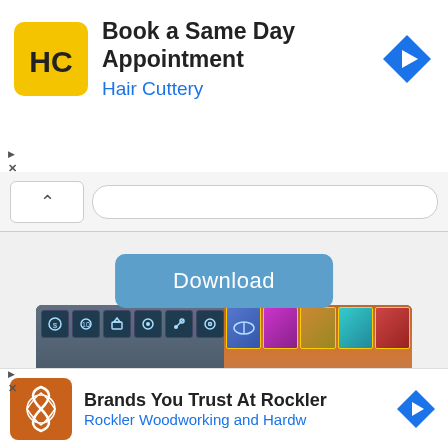[Figure (screenshot): Top advertisement banner for Hair Cuttery: 'Book a Same Day Appointment' with HC logo and navigation arrow icon]
[Figure (screenshot): Browser navigation bar with up chevron button]
[Figure (screenshot): Blue Download button]
[Figure (screenshot): Mobile racing game screenshot showing two cars side by side with text 'CREATE YOUR OWN RACE MONSTER' at bottom]
[Figure (screenshot): Bottom advertisement banner for Rockler Woodworking and Hardware: 'Brands You Trust At Rockler']